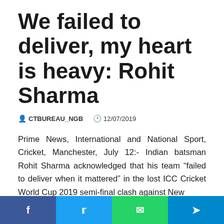We failed to deliver, my heart is heavy: Rohit Sharma
CTBUREAU_NGB   12/07/2019
Prime News, International and National Sport, Cricket, Manchester, July 12:- Indian batsman Rohit Sharma acknowledged that his team “failed to deliver when it mattered” in the lost ICC Cricket World Cup 2019 semi-final clash against New
f  t  WhatsApp  Telegram